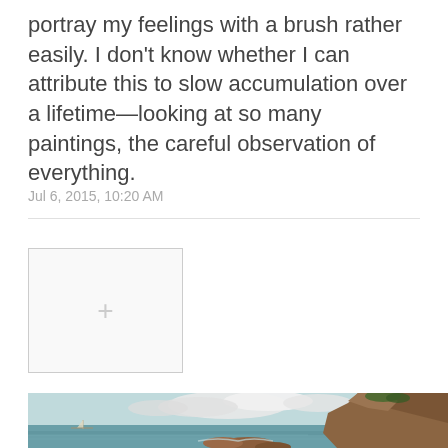portray my feelings with a brush rather easily. I don't know whether I can attribute this to slow accumulation over a lifetime—looking at so many paintings, the careful observation of everything.
Jul 6, 2015, 10:20 AM
[Figure (other): A placeholder box with a plus (+) icon, suggesting an area to add content or an image.]
[Figure (illustration): A landscape painting showing a coastal seascape with rocky cliffs on the right, ocean water with waves, cloudy sky with white cumulus clouds, and a small sailboat visible in the distance on the left.]